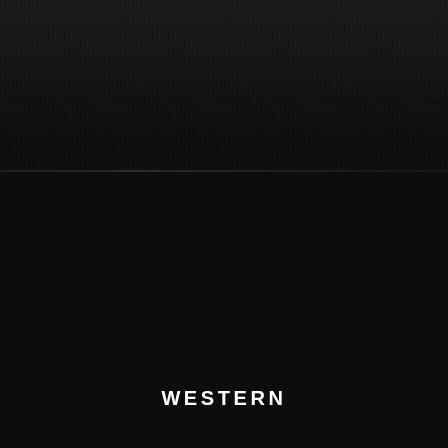[Figure (photo): Dark background with subtle textured top panel area separated by a faint horizontal line, creating a two-tone dark composition]
WESTERN